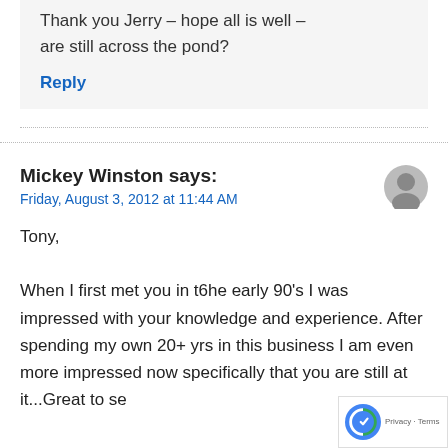Thank you Jerry – hope all is well – are still across the pond?
Reply
Mickey Winston says:
Friday, August 3, 2012 at 11:44 AM
Tony,
When I first met you in t6he early 90's I was impressed with your knowledge and experience. After spending my own 20+ yrs in this business I am even more impressed now specifically that you are still at it...Great to se